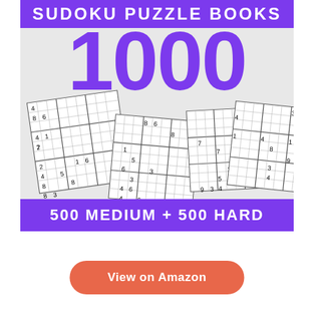[Figure (illustration): Book cover for a Sudoku puzzle book featuring large '1000' text in purple, multiple overlapping sudoku grid puzzles visible in the background, a purple top banner reading 'SUDOKU PUZZLE BOOKS', and a purple bottom banner reading '500 MEDIUM + 500 HARD']
View on Amazon